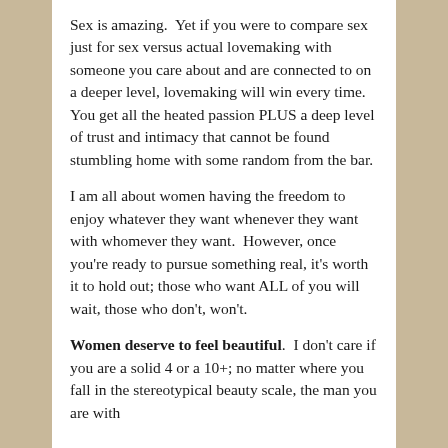Sex is amazing.  Yet if you were to compare sex just for sex versus actual lovemaking with someone you care about and are connected to on a deeper level, lovemaking will win every time.  You get all the heated passion PLUS a deep level of trust and intimacy that cannot be found stumbling home with some random from the bar.
I am all about women having the freedom to enjoy whatever they want whenever they want with whomever they want.  However, once you're ready to pursue something real, it's worth it to hold out; those who want ALL of you will wait, those who don't, won't.
Women deserve to feel beautiful.  I don't care if you are a solid 4 or a 10+; no matter where you fall in the stereotypical beauty scale, the man you are with